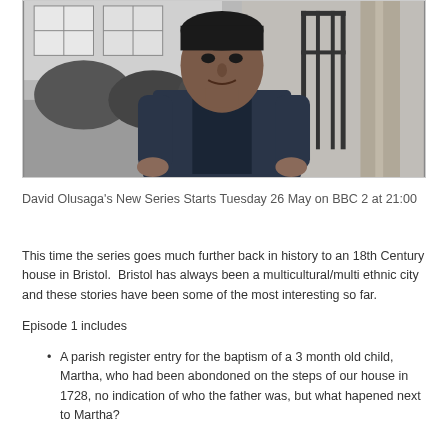[Figure (photo): Black and white photo of a man in a dark blazer standing in front of a historic building with iron gates and hedges]
David Olusaga's New Series Starts Tuesday 26 May on BBC 2 at 21:00
This time the series goes much further back in history to an 18th Century house in Bristol.  Bristol has always been a multicultural/multi ethnic city and these stories have been some of the most interesting so far.
Episode 1 includes
A parish register entry for the baptism of a 3 month old child, Martha, who had been abondoned on the steps of our house in 1728, no indication of who the father was, but what hapened next to Martha?